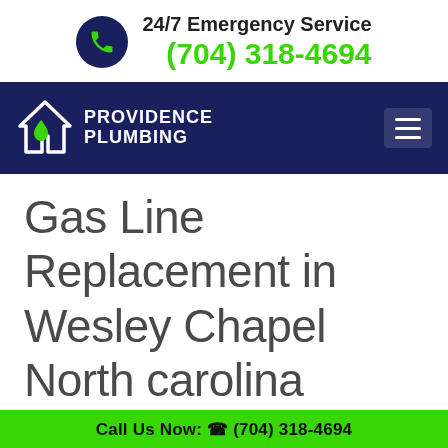24/7 Emergency Service (704) 318-4694
[Figure (logo): Providence Plumbing logo with house and water drop icon on dark navy navigation bar]
Gas Line Replacement in Wesley Chapel North carolina
Call Us Now: (704) 318-4694